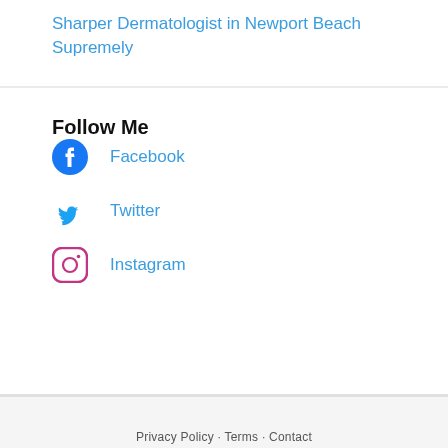Sharper Dermatologist in Newport Beach Supremely
Follow Me
Facebook
Twitter
Instagram
Privacy Policy · Terms · Contact